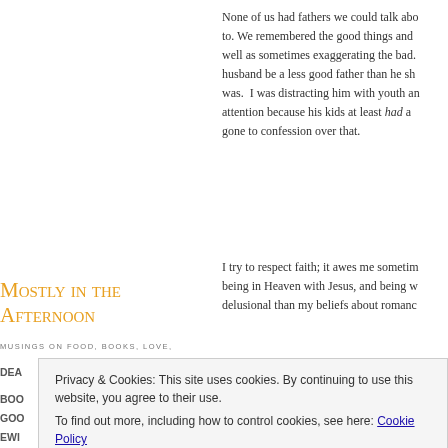None of us had fathers we could talk about to. We remembered the good things and well as sometimes exaggerating the bad. husband be a less good father than he should was. I was distracting him with youth and attention because his kids at least had a gone to confession over that.
I try to respect faith; it awes me sometimes being in Heaven with Jesus, and being w delusional than my beliefs about romance
Mostly in the Afternoon
MUSINGS ON FOOD, BOOKS, LOVE,
Privacy & Cookies: This site uses cookies. By continuing to use this website, you agree to their use. To find out more, including how to control cookies, see here: Cookie Policy
Close and accept
I suppose the purpose of God is to be p